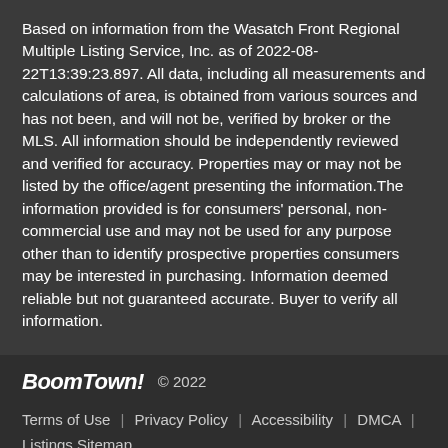Based on information from the Wasatch Front Regional Multiple Listing Service, Inc. as of 2022-08-22T13:39:23.897. All data, including all measurements and calculations of area, is obtained from various sources and has not been, and will not be, verified by broker or the MLS. All information should be independently reviewed and verified for accuracy. Properties may or may not be listed by the office/agent presenting the information.The information provided is for consumers' personal, non-commercial use and may not be used for any purpose other than to identify prospective properties consumers may be interested in purchasing. Information deemed reliable but not guaranteed accurate. Buyer to verify all information.
BoomTown! © 2022  Terms of Use | Privacy Policy | Accessibility | DMCA | Listings Sitemap
Take a Tour
Ask A Question